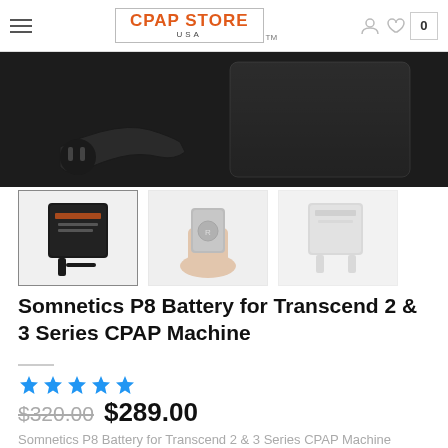CPAP STORE USA
[Figure (photo): Main product photo showing black CPAP battery with cable/adapter on dark background]
[Figure (photo): Thumbnail row: three product images - selected thumbnail of battery with strap, hand holding battery, and battery with stand]
Somnetics P8 Battery for Transcend 2 & 3 Series CPAP Machine
[Figure (other): Five gold star rating]
$320.00 $289.00
Somnetics P8 Battery for Transcend 2 & 3 Series CPAP Machine